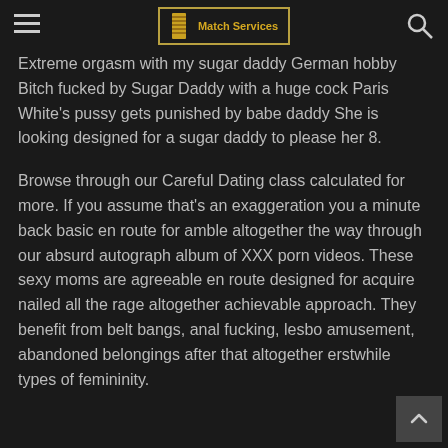Match Services
Extreme orgasm with my sugar daddy German hobby Bitch fucked by Sugar Daddy with a huge cock Paris White's pussy gets punished by babe daddy She is looking designed for a sugar daddy to please her 8.
Browse through our Careful Dating class calculated for more. If you assume that's an exaggeration you a minute back basic en route for amble altogether the way through our absurd autograph album of XXX porn videos. These sexy moms are agreeable en route designed for acquire nailed all the rage altogether achievable approach. They benefit from belt bangs, anal fucking, lesbo amusement, abandoned belongings after that altogether erstwhile types of femininity.